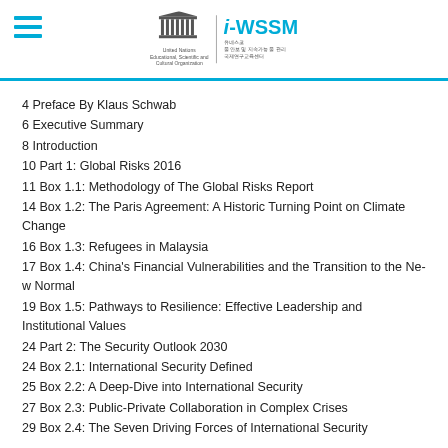UNESCO / i-WSSM header
4 Preface By Klaus Schwab
6 Executive Summary
8 Introduction
10 Part 1: Global Risks 2016
11 Box 1.1: Methodology of The Global Risks Report
14 Box 1.2: The Paris Agreement: A Historic Turning Point on Climate Change
16 Box 1.3: Refugees in Malaysia
17 Box 1.4: China's Financial Vulnerabilities and the Transition to the New Normal
19 Box 1.5: Pathways to Resilience: Effective Leadership and Institutional Values
24 Part 2: The Security Outlook 2030
24 Box 2.1: International Security Defined
25 Box 2.2: A Deep-Dive into International Security
27 Box 2.3: Public-Private Collaboration in Complex Crises
29 Box 2.4: The Seven Driving Forces of International Security